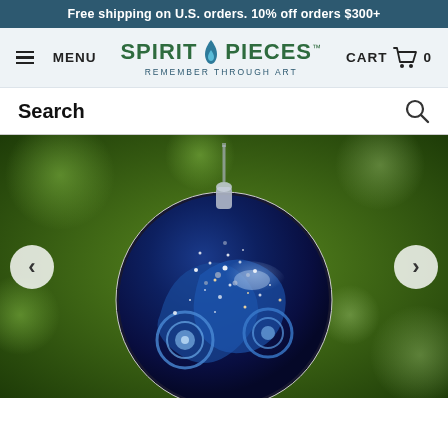Free shipping on U.S. orders. 10% off orders $300+
MENU | SPIRIT PIECES REMEMBER THROUGH ART | CART 0
Search
[Figure (photo): Close-up photograph of a round glass memorial pendant with deep blue swirling galaxy/starry night pattern, suspended on a silver bail against a blurred green bokeh background. Navigation arrows (< and >) visible on left and right sides of the image.]